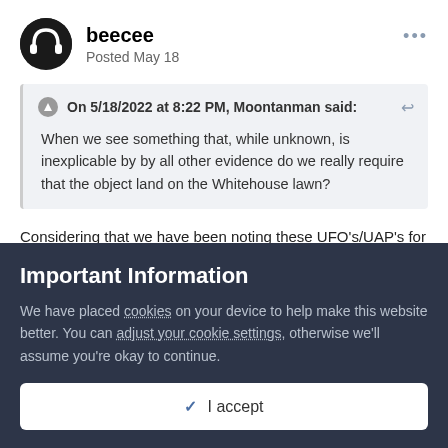beecee
Posted May 18
On 5/18/2022 at 8:22 PM, Moontanman said:
When we see something that, while unknown, is inexplicable by by all other evidence do we really require that the object land on the Whitehouse lawn?
Considering that we have been noting these UFO's/UAP's for quite a while now, I would think (if they were aliens) that it would be time to step and introduce themselves. An advanced
Important Information
We have placed cookies on your device to help make this website better. You can adjust your cookie settings, otherwise we'll assume you're okay to continue.
✓ I accept